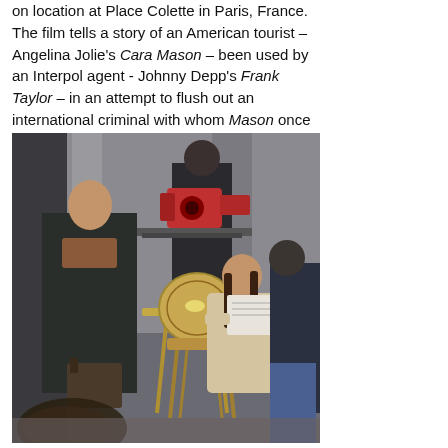on location at Place Colette in Paris, France. The film tells a story of an American tourist – Angelina Jolie's Cara Mason – been used by an Interpol agent - Johnny Depp's Frank Taylor – in an attempt to flush out an international criminal with whom Mason once had an affair.
[Figure (photo): On-location film shoot photo showing a man in a dark coat carrying a bag walking past a seated woman reading a document at a café table, with film camera equipment visible in the background. Shot at Place Colette in Paris, France.]